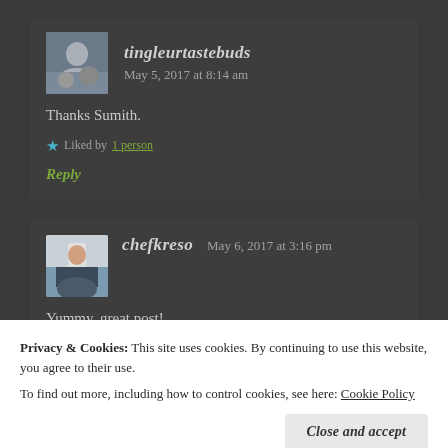tingleurtastebuds   May 5, 2017 at 8:14 am
Thanks Sumith.
Liked by 1 person
Reply
chefkreso   May 6, 2017 at 3:16 pm
Yummy, great post!
Privacy & Cookies: This site uses cookies. By continuing to use this website, you agree to their use. To find out more, including how to control cookies, see here: Cookie Policy
Close and accept